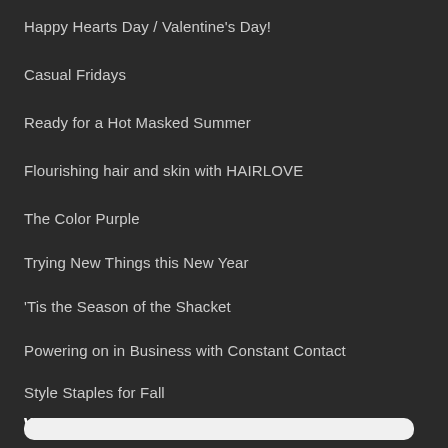Happy Hearts Day / Valentine's Day!
Casual Fridays
Ready for a Hot Masked Summer
Flourishing hair and skin with HAIRLOVE
The Color Purple
Trying New Things this New Year
'Tis the Season of the Shacket
Powering on in Business with Constant Contact
Style Staples for Fall
WHAT'S HAUTE ON TWITTER